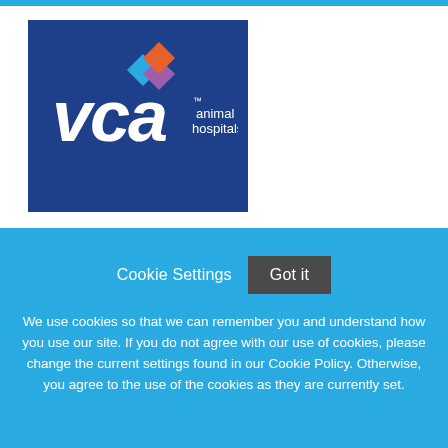[Figure (logo): VCA Animal Hospitals logo - white text 'vca' in italic with colorful diamond shapes above 'animal hospitals' text, on dark blue background]
Cookie Settings   Got it
We use cookies so that we can remember you and understand how you use our site. If you do not agree with our use of cookies, please change the current settings found in our Cookie Policy. Otherwise, you agree to the use of the cookies as they are currently set.